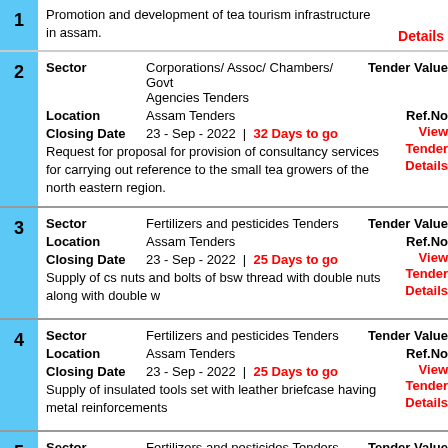1 - Promotion and development of tea tourism infrastructure in assam. Details
2 - Sector: Corporations/Assoc/Chambers/Govt Agencies Tenders, Tender Value; Location: Assam Tenders, Ref.No; Closing Date: 30 - Sep - 2022 | 32 Days to go, View Tender Details. Request for proposal for provision of consultancy services for carrying out reference to the small tea growers of the north eastern region.
3 - Sector: Fertilizers and pesticides Tenders, Tender Value; Location: Assam Tenders, Ref.No; Closing Date: 23 - Sep - 2022 | 25 Days to go, View Tender Details. Supply of cs nuts and bolts of bsw thread with double nuts along with double w
4 - Sector: Fertilizers and pesticides Tenders, Tender Value; Location: Assam Tenders, Ref.No; Closing Date: 23 - Sep - 2022 | 25 Days to go, View Tender Details. Supply of insulated tools set with leather briefcase having metal reinforcements
5 - Sector: Fertilizers and pesticides Tenders, Tender Value